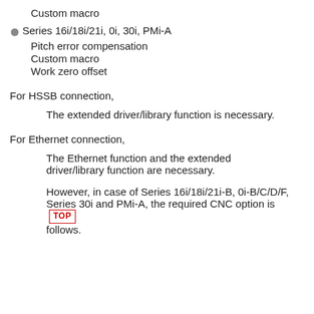Custom macro
Series 16i/18i/21i, 0i, 30i, PMi-A
Pitch error compensation
Custom macro
Work zero offset
For HSSB connection,
The extended driver/library function is necessary.
For Ethernet connection,
The Ethernet function and the extended driver/library function are necessary.
However, in case of Series 16i/18i/21i-B, 0i-B/C/D/F, Series 30i and PMi-A, the required CNC option is [TOP] follows.